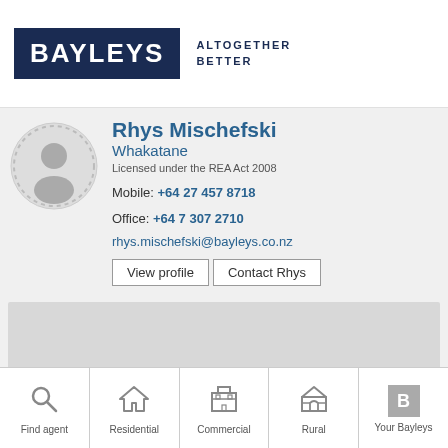BAYLEYS — ALTOGETHER BETTER
Rhys Mischefski
Whakatane
Licensed under the REA Act 2008
Mobile: +64 27 457 8718
Office: +64 7 307 2710
rhys.mischefski@bayleys.co.nz
[Figure (other): Gray placeholder content area]
Find agent | Residential | Commercial | Rural | Your Bayleys